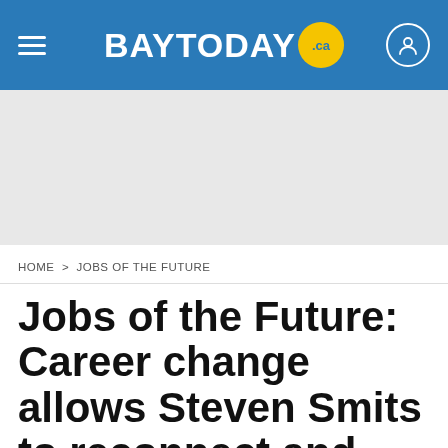BAYTODAY.ca
[Figure (other): Advertisement placeholder area, grey background]
HOME > JOBS OF THE FUTURE
Jobs of the Future: Career change allows Steven Smits to reconnect and give back to...